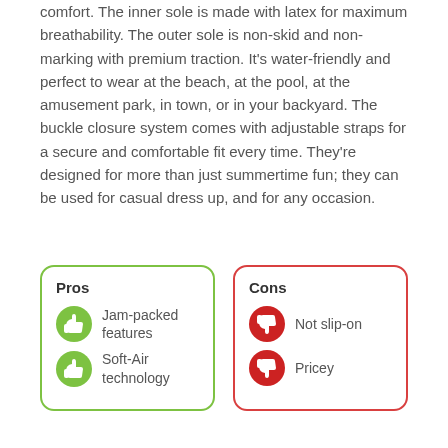comfort. The inner sole is made with latex for maximum breathability. The outer sole is non-skid and non-marking with premium traction. It's water-friendly and perfect to wear at the beach, at the pool, at the amusement park, in town, or in your backyard. The buckle closure system comes with adjustable straps for a secure and comfortable fit every time. They're designed for more than just summertime fun; they can be used for casual dress up, and for any occasion.
Pros: Jam-packed features
Pros: Soft-Air technology
Cons: Not slip-on
Cons: Pricey